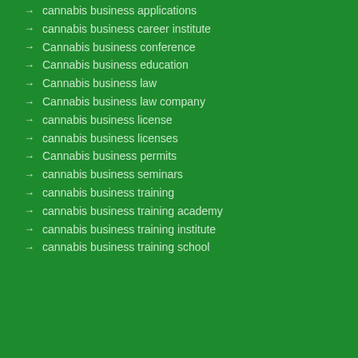cannabis business applications
cannabis business career institute
Cannabis business conference
Cannabis business education
Cannabis business law
Cannabis business law company
cannabis business license
cannabis business licenses
Cannabis business permits
cannabis business seminars
cannabis business training
cannabis business training academy
cannabis business training institute
cannabis business training school